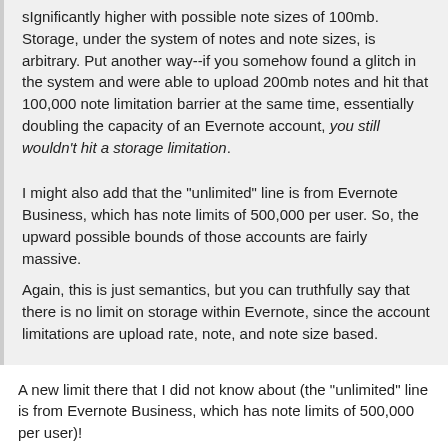sIgnificantly higher with possible note sizes of 100mb. Storage, under the system of notes and note sizes, is arbitrary. Put another way--if you somehow found a glitch in the system and were able to upload 200mb notes and hit that 100,000 note limitation barrier at the same time, essentially doubling the capacity of an Evernote account, you still wouldn't hit a storage limitation.
I might also add that the "unlimited" line is from Evernote Business, which has note limits of 500,000 per user. So, the upward possible bounds of those accounts are fairly massive.
Again, this is just semantics, but you can truthfully say that there is no limit on storage within Evernote, since the account limitations are upload rate, note, and note size based.
A new limit there that I did not know about (the "unlimited" line is from Evernote Business, which has note limits of 500,000 per user)!
The problem with the "unlimited" statement is that a single account is not unlimited, and I think it implies this. Let's assume that it means unlimited per "person" instead. When I peak at 100,000 notes and switch to a new